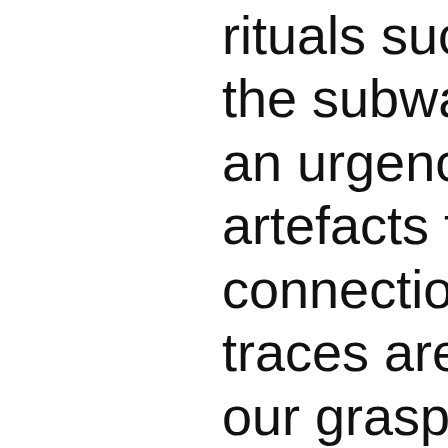rituals such as picking the subway are put an urgency to preserve artefacts that contain connection and direct traces are in sight, t our grasp and the c express ourselves o realms of technolo